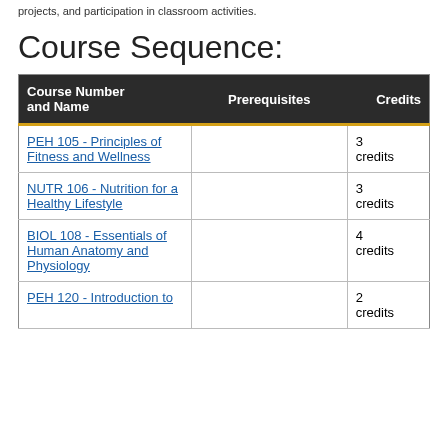projects, and participation in classroom activities.
Course Sequence:
| Course Number and Name | Prerequisites | Credits |
| --- | --- | --- |
| PEH 105 - Principles of Fitness and Wellness |  | 3 credits |
| NUTR 106 - Nutrition for a Healthy Lifestyle |  | 3 credits |
| BIOL 108 - Essentials of Human Anatomy and Physiology |  | 4 credits |
| PEH 120 - Introduction to |  | 2 credits |